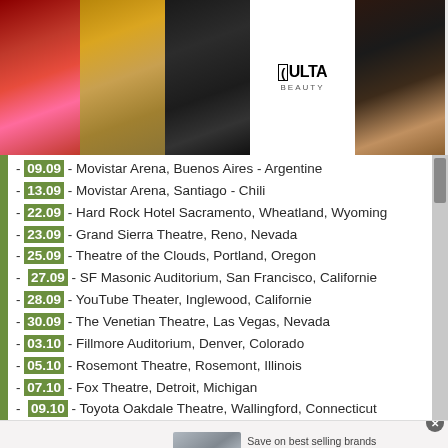[Figure (screenshot): Top advertisement banner for ULTA Beauty with makeup images, ULTA logo, and 'SHOP NOW' button with close X]
- 09.09 - Movistar Arena, Buenos Aires - Argentine
- 13.09 - Movistar Arena, Santiago - Chili
- 22.09 - Hard Rock Hotel Sacramento, Wheatland, Wyoming
- 23.09 - Grand Sierra Theatre, Reno, Nevada
- 25.09 - Theatre of the Clouds, Portland, Oregon
- 27.09 - SF Masonic Auditorium, San Francisco, Californie
- 28.09 - YouTube Theater, Inglewood, Californie
- 30.09 - The Venetian Theatre, Las Vegas, Nevada
- 03.10 - Fillmore Auditorium, Denver, Colorado
- 05.10 - Rosemont Theatre, Rosemont, Illinois
- 07.10 - Fox Theatre, Detroit, Michigan
- 09.10 - Toyota Oakdale Theatre, Wallingford, Connecticut
- 10.10 - The Anthem, Washington, D.C.
[Figure (screenshot): Bottom Wayfair advertisement banner: 'Top Appliances Low Prices' with appliance image and 'Shop now' button, 'Save on best selling brands that live up to the hype']